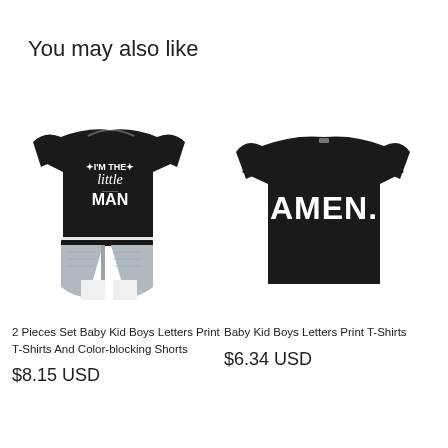You may also like
[Figure (photo): Black short-sleeve t-shirt with 'I'M THE little MAN' text paired with gray and white color-blocking shorts for baby/toddler boys]
2 Pieces Set Baby Kid Boys Letters Print T-Shirts And Color-blocking Shorts
$8.15 USD
[Figure (photo): Black short-sleeve t-shirt with large white 'AMEN.' text for baby/toddler boys]
Baby Kid Boys Letters Print T-Shirts
$6.34 USD